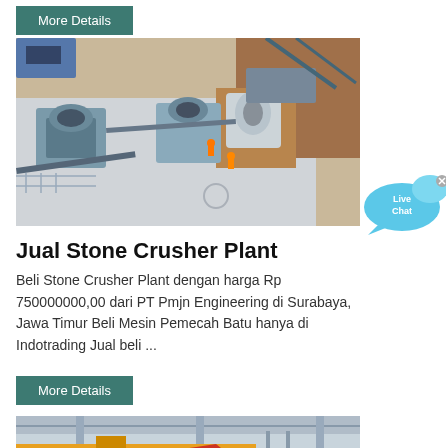More Details
[Figure (photo): Aerial view of stone crusher plant under construction with heavy machinery and workers on a concrete platform]
Jual Stone Crusher Plant
Beli Stone Crusher Plant dengan harga Rp 750000000,00 dari PT Pmjn Engineering di Surabaya, Jawa Timur Beli Mesin Pemecah Batu hanya di Indotrading Jual beli ...
[Figure (illustration): Live Chat button with speech bubble icon]
More Details
[Figure (photo): Industrial crane or overhead equipment in a factory/warehouse setting]